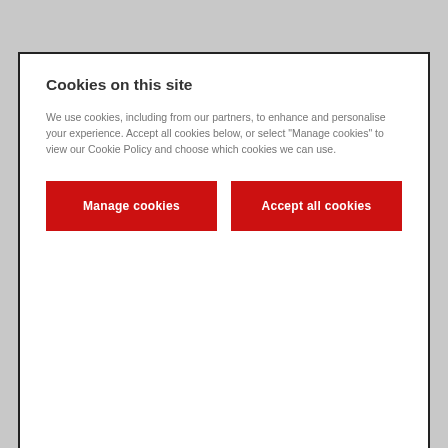Cookies on this site
We use cookies, including from our partners, to enhance and personalise your experience. Accept all cookies below, or select “Manage cookies” to view our Cookie Policy and choose which cookies we can use.
Manage cookies
Accept all cookies
The inspector now looks like a magnified version of an object on the object bench. This emphasises that this is just another view of the same thing (just with additional detail provided).
The functionality of the object inspector is unchanged: fields can still be inspected further, static fields can be displayed, and so on.